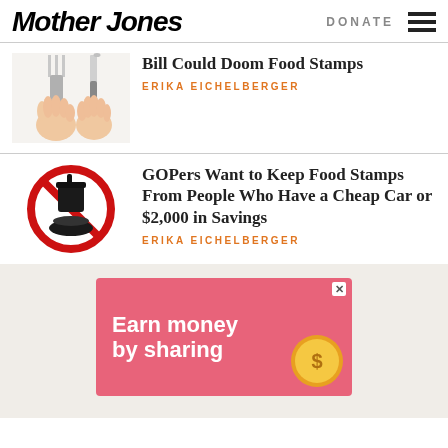Mother Jones | DONATE ☰
[Figure (illustration): Two hands holding a fork and knife against a light background]
Bill Could Doom Food Stamps
ERIKA EICHELBERGER
[Figure (illustration): No fast food sign: red circle with diagonal bar over a drink cup and burger]
GOPers Want to Keep Food Stamps From People Who Have a Cheap Car or $2,000 in Savings
ERIKA EICHELBERGER
[Figure (infographic): Advertisement banner: pink/red background with text 'Earn money by sharing' and a gold coin icon]